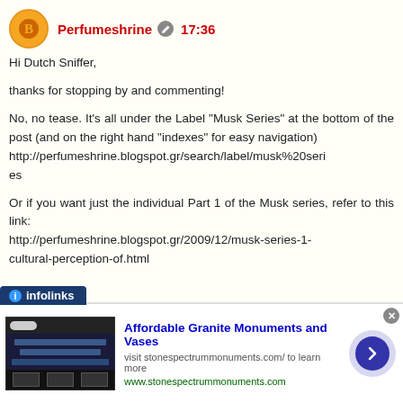Perfumeshrine  17:36
Hi Dutch Sniffer,

thanks for stopping by and commenting!

No, no tease. It's all under the Label "Musk Series" at the bottom of the post (and on the right hand "indexes" for easy navigation)
http://perfumeshrine.blogspot.gr/search/label/musk%20series

Or if you want just the individual Part 1 of the Musk series, refer to this link:
http://perfumeshrine.blogspot.gr/2009/12/musk-series-1-cultural-perception-of.html
[Figure (screenshot): Infolinks ad banner showing 'Affordable Granite Monuments and Vases' advertisement with a screenshot of the advertiser's website, blue arrow button, and green URL www.stonespectrummonuments.com]